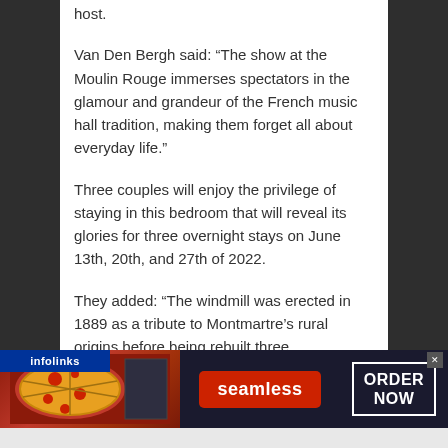host.
Van Den Bergh said: “The show at the Moulin Rouge immerses spectators in the glamour and grandeur of the French music hall tradition, making them forget all about everyday life.”
Three couples will enjoy the privilege of staying in this bedroom that will reveal its glories for three overnight stays on June 13th, 20th, and 27th of 2022.
They added: “The windmill was erected in 1889 as a tribute to Montmartre’s rural origins before being rebuilt three
[Figure (screenshot): Advertisement banner for Seamless food delivery service, showing pizza image on the left, Seamless logo in a red button in the center, and ORDER NOW button on the right. Infolinks label in bottom-left corner.]